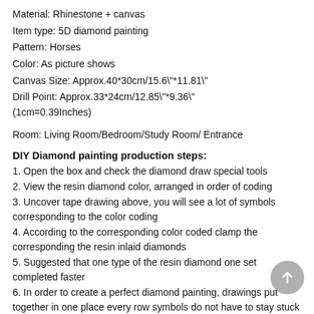Material: Rhinestone + canvas
Item type: 5D diamond painting
Pattern: Horses
Color: As picture shows
Canvas Size: Approx.40*30cm/15.6"*11.81"
Drill Point: Approx.33*24cm/12.85"*9.36"
(1cm=0.39Inches)
Room: Living Room/Bedroom/Study Room/ Entrance
DIY Diamond painting production steps:
1. Open the box and check the diamond draw special tools
2. View the resin diamond color, arranged in order of coding
3. Uncover tape drawing above, you will see a lot of symbols corresponding to the color coding
4. According to the corresponding color coded clamp the corresponding the resin inlaid diamonds
5. Suggested that one type of the resin diamond one set completed faster
6. In order to create a perfect diamond painting, drawings put together in one place every row symbols do not have to stay stuck diamonds
7. To cut a good figure on the drawings hold sorted array mounted to the plane of the material above